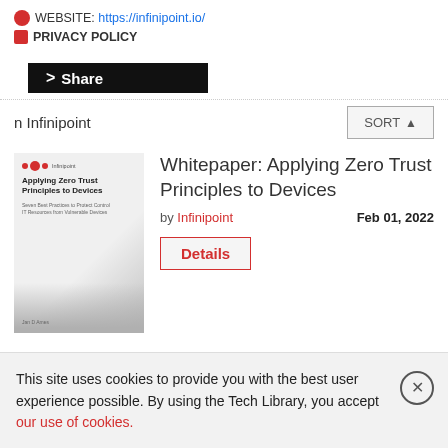WEBSITE: https://infinipoint.io/
PRIVACY POLICY
[Figure (screenshot): Share button (black bar with > Share text)]
n Infinipoint
SORT
[Figure (photo): Book cover thumbnail for 'Applying Zero Trust Principles to Devices' by Infinipoint]
Whitepaper: Applying Zero Trust Principles to Devices
by Infinipoint   Feb 01, 2022
Details
This site uses cookies to provide you with the best user experience possible. By using the Tech Library, you accept our use of cookies.